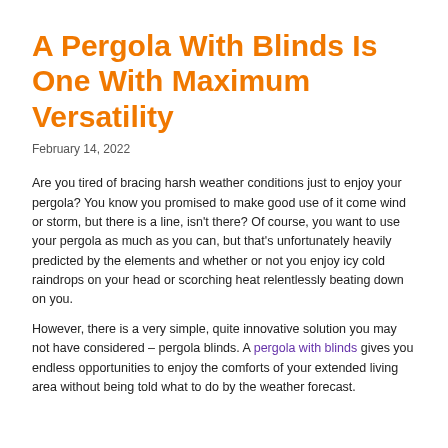A Pergola With Blinds Is One With Maximum Versatility
February 14, 2022
Are you tired of bracing harsh weather conditions just to enjoy your pergola? You know you promised to make good use of it come wind or storm, but there is a line, isn't there? Of course, you want to use your pergola as much as you can, but that's unfortunately heavily predicted by the elements and whether or not you enjoy icy cold raindrops on your head or scorching heat relentlessly beating down on you.
However, there is a very simple, quite innovative solution you may not have considered – pergola blinds. A pergola with blinds gives you endless opportunities to enjoy the comforts of your extended living area without being told what to do by the weather forecast.